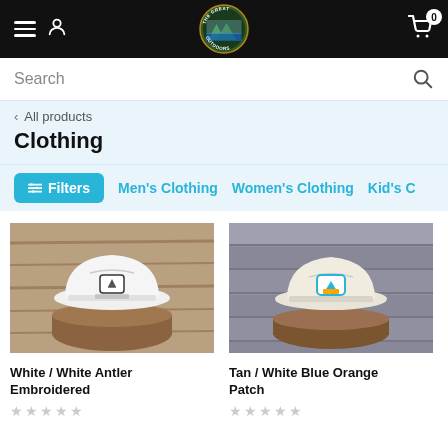The Great Outdoors - navigation bar with menu, user icon, logo, cart (0)
Search
< All products
Clothing
Filters  Men's Clothing  Women's Clothing  Kid's C
[Figure (photo): White trucker hat with antler embroidery displayed on a wood stump]
White / White Antler Embroidered
[Figure (photo): Tan/white hat with blue orange patch displayed on a wood stump]
Tan / White Blue Orange Patch